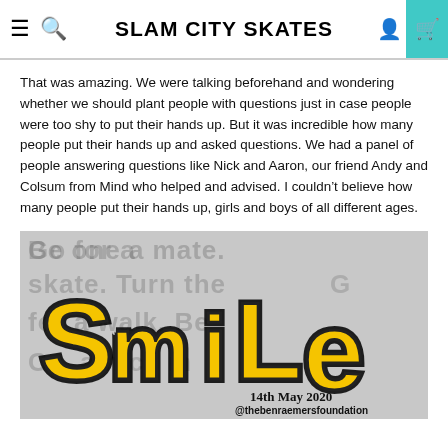SLAM CITY SKATES
That was amazing. We were talking beforehand and wondering whether we should plant people with questions just in case people were too shy to put their hands up. But it was incredible how many people put their hands up and asked questions. We had a panel of people answering questions like Nick and Aaron, our friend Andy and Colsum from Mind who helped and advised. I couldn't believe how many people put their hands up, girls and boys of all different ages.
[Figure (illustration): SMILE graphic in yellow graffiti-style lettering with black outline on a grey background with faded text. Bottom right shows '14th May 2020' and '@thebenraemersfoundation'.]